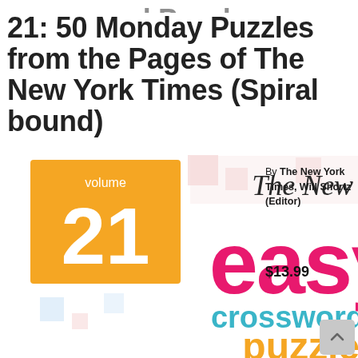21: 50 Monday Puzzles from the Pages of The New York Times (Spiral bound)
[Figure (photo): Book cover of NYT Easy Crossword Puzzles Volume 21, showing 'The New York Times' masthead, 'easy crossword puzzles' text in pink and teal, and 'puzzles' in yellow, with colorful squares and food imagery. Volume 21 badge in orange.]
By The New York Times, Will Shortz (Editor)
$13.99